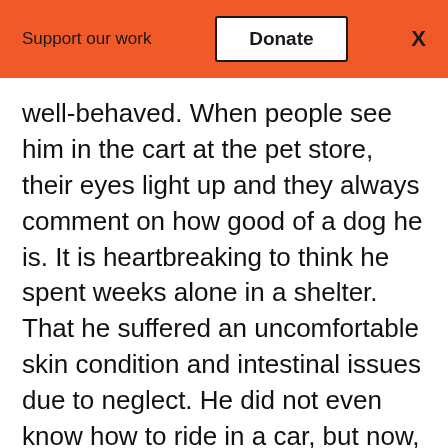Support our work  Donate  X
well-behaved. When people see him in the cart at the pet store, their eyes light up and they always comment on how good of a dog he is. It is heartbreaking to think he spent weeks alone in a shelter. That he suffered an uncomfortable skin condition and intestinal issues due to neglect. He did not even know how to ride in a car, but now, he runs around like a madman when he hears the words “bye bye.”